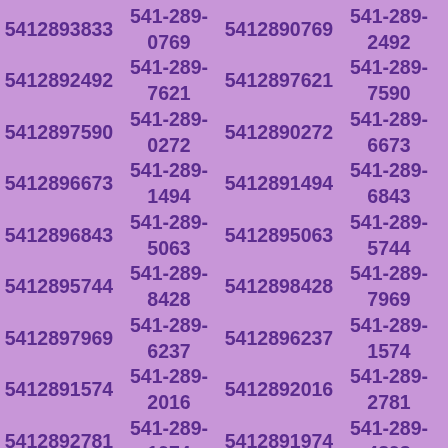5412893833 541-289-0769 5412890769 541-289-2492 5412892492 541-289-7621 5412897621 541-289-7590 5412897590 541-289-0272 5412890272 541-289-6673 5412896673 541-289-1494 5412891494 541-289-6843 5412896843 541-289-5063 5412895063 541-289-5744 5412895744 541-289-8428 5412898428 541-289-7969 5412897969 541-289-6237 5412896237 541-289-1574 5412891574 541-289-2016 5412892016 541-289-2781 5412892781 541-289-1974 5412891974 541-289-4898 5412894898 541-289-6000 5412896000 541-289-8182 5412898182 541-289-2340 5412892340 541-289-0747 5412890747 541-289-9056 5412899056 541-289-7347 5412897347 541-289-0555 5412890555 541-289-0814 5412890814 541-289-8414 5412898414 541-289-1415 5412891415 541-289-5072 5412895072 541-289-0498 5412890498 541-289-7320 5412897320 541-289-9436 5412899436 541-289-0764 5412890764 541-289-8027 5412898027 541-289-9148 5412899148 541-289-1673 5412891673 541-289-8402 5412898402 541-289-8555 5412898555 541-289-2181 5412892181 541-289-5684 5412895684 541-289-7528 5412897528 541-289-5386